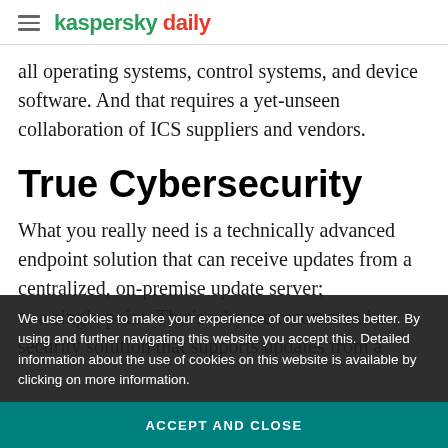kaspersky daily
all operating systems, control systems, and device software. And that requires a yet-unseen collaboration of ICS suppliers and vendors.
True Cybersecurity
What you really need is a technically advanced endpoint solution that can receive updates from a centralized, on-premise update server; to a single point. That's why we recommend a security solution that supports updates from a management server installed inside an industrial
We use cookies to make your experience of our websites better. By using and further navigating this website you accept this. Detailed information about the use of cookies on this website is available by clicking on more information.
ACCEPT AND CLOSE